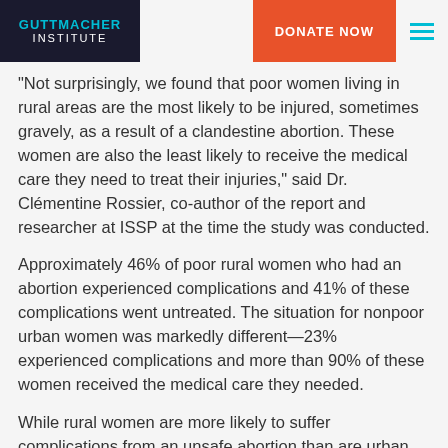GUTTMACHER INSTITUTE | DONATE NOW
“Not surprisingly, we found that poor women living in rural areas are the most likely to be injured, sometimes gravely, as a result of a clandestine abortion. These women are also the least likely to receive the medical care they need to treat their injuries,” said Dr. Clémentine Rossier, co-author of the report and researcher at ISSP at the time the study was conducted.
Approximately 46% of poor rural women who had an abortion experienced complications and 41% of these complications went untreated. The situation for nonpoor urban women was markedly different—23% experienced complications and more than 90% of these women received the medical care they needed.
While rural women are more likely to suffer complications from an unsafe abortion than are urban women, they are less likely to have an abortion. In rural zones, the overall abortion rate is 22 per 1,000 women